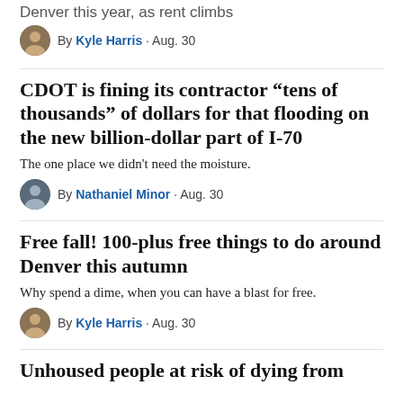Denver this year, as rent climbs
By Kyle Harris · Aug. 30
CDOT is fining its contractor “tens of thousands” of dollars for that flooding on the new billion-dollar part of I-70
The one place we didn't need the moisture.
By Nathaniel Minor · Aug. 30
Free fall! 100-plus free things to do around Denver this autumn
Why spend a dime, when you can have a blast for free.
By Kyle Harris · Aug. 30
Unhoused people at risk of dying from